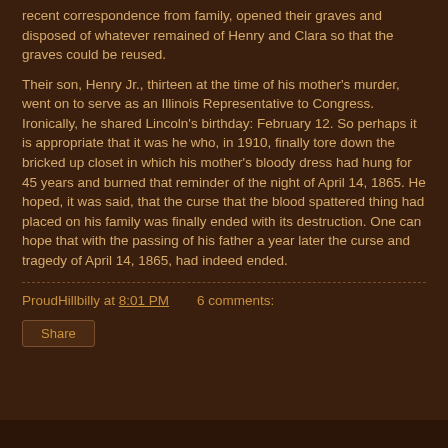recent correspondence from family, opened their graves and disposed of whatever remained of Henry and Clara so that the graves could be reused.
Their son, Henry Jr., thirteen at the time of his mother's murder, went on to serve as an Illinois Representative to Congress. Ironically, he shared Lincoln's birthday: February 12. So perhaps it is appropriate that it was he who, in 1910, finally tore down the bricked up closet in which his mother's bloody dress had hung for 45 years and burned that reminder of the night of April 14, 1865. He hoped, it was said, that the curse that the blood spattered thing had placed on his family was finally ended with its destruction. One can hope that with the passing of his father a year later the curse and tragedy of April 14, 1865, had indeed ended.
ProudHillbilly at 8:01 PM    6 comments:
Share